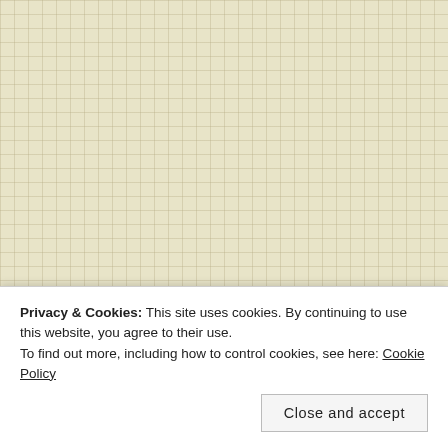Release day: Montana Son
June 2, 2020
Anzac Day 2020 Musings
April 25, 2020
2019 Awards: winners
March 9, 2020
Happy Valentine's Day from Bindarra Creek
February 14, 2020
Guest Blog – Juanita Kees
January 28, 2020
Privacy & Cookies: This site uses cookies. By continuing to use this website, you agree to their use.
To find out more, including how to control cookies, see here: Cookie Policy
[Close and accept]